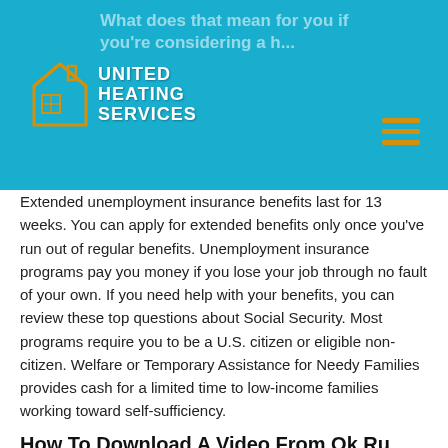United Heating Services
Extended unemployment insurance benefits last for 13 weeks. You can apply for extended benefits only once you've run out of regular benefits. Unemployment insurance programs pay you money if you lose your job through no fault of your own. If you need help with your benefits, you can review these top questions about Social Security. Most programs require you to be a U.S. citizen or eligible non-citizen. Welfare or Temporary Assistance for Needy Families provides cash for a limited time to low-income families working toward self-sufficiency.
How To Download A Video From Ok Ru
The waiver's CD-PASS option, where family members are eligible to be hired and paid as caregivers for their elderly relatives, is currently available throughout the state. The 4 Ps are: Withdrawal...